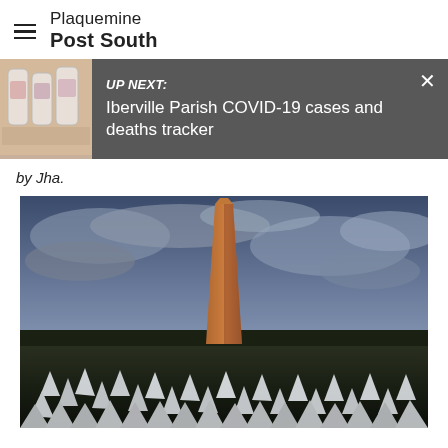Plaquemine Post South
[Figure (screenshot): UP NEXT notification bar with thumbnail of bottle products and text: 'Iberville Parish COVID-19 cases and deaths tracker']
by Jha.
[Figure (photo): Washington Monument at dusk with white flags on the National Mall in the foreground and dramatic cloudy sky]